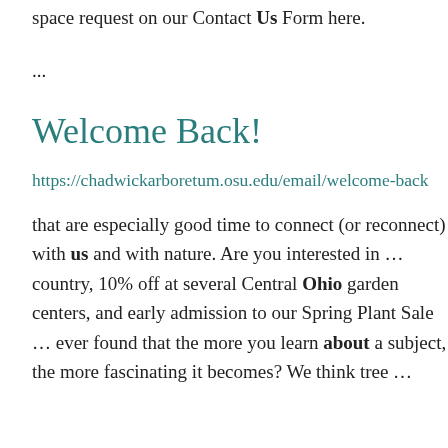space request on our Contact Us Form here.
...
Welcome Back!
https://chadwickarboretum.osu.edu/email/welcome-back
that are especially good time to connect (or reconnect) with us and with nature. Are you interested in ... country, 10% off at several Central Ohio garden centers, and early admission to our Spring Plant Sale ... ever found that the more you learn about a subject, the more fascinating it becomes? We think tree ...